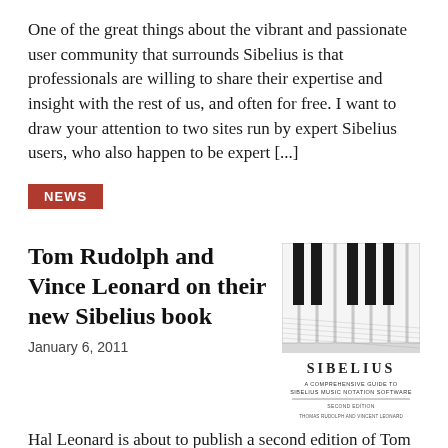One of the great things about the vibrant and passionate user community that surrounds Sibelius is that professionals are willing to share their expertise and insight with the rest of us, and often for free. I want to draw your attention to two sites run by expert Sibelius users, who also happen to be expert [...]
NEWS
Tom Rudolph and Vince Leonard on their new Sibelius book
January 6, 2011
[Figure (photo): Book cover of Sibelius: A Comprehensive Guide to Sibelius Music Notation Software, Second Edition, by Thomas Rudolph and Vincent Leonard. Features piano keys and music notation imagery.]
Hal Leonard is about to publish a second edition of Tom Rudolph and Vince Leonard's book, Sibelius: A Comprehensive Guide to Sibelius Music Notation Software, which has been thoroughly updated and revised. The first edition of the